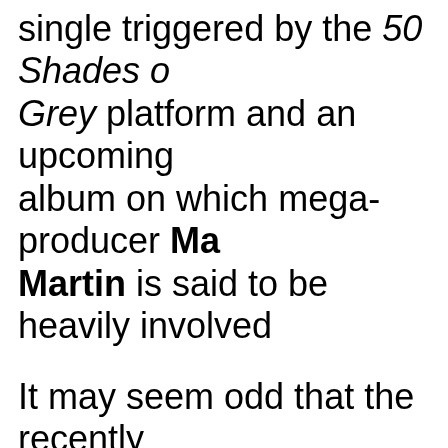single triggered by the 50 Shades of Grey platform and an upcoming album on which mega-producer Max Martin is said to be heavily involved.
It may seem odd that the recently leaderless Sony Nashville has been leading Mike Dungan's mighty UMG Nashville in marketshare throughout 2015, but this turn of events is simply the result of the additional